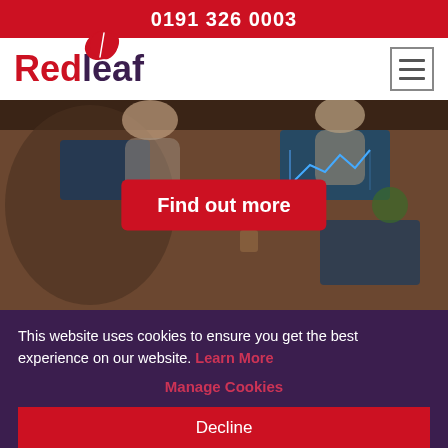0191 326 0003
[Figure (logo): Redleaf company logo with red leaf icon above the text]
[Figure (photo): Overhead view of people working around a table with laptops, with a red 'Find out more' button overlay]
This website uses cookies to ensure you get the best experience on our website. Learn More
Manage Cookies
Decline
Allow All
×
you and your business by seeing you regularly and